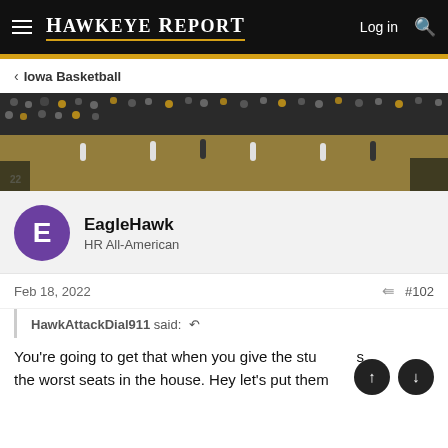Hawkeye Report — Log in
Iowa Basketball
[Figure (photo): Basketball arena photo showing court, players, and crowd at an Iowa basketball game]
EagleHawk
HR All-American
Feb 18, 2022  #102
HawkAttackDial911 said:
You're going to get that when you give the stu  s the worst seats in the house. Hey let's put them